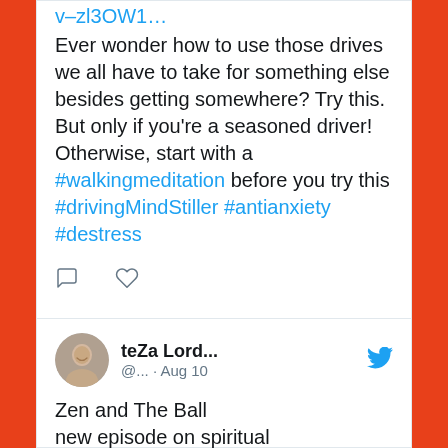v–zl3OW1…
Ever wonder how to use those drives we all have to take for something else besides getting somewhere? Try this. But only if you're a seasoned driver! Otherwise, start with a #walkingmeditation before you try this #drivingMindStiller #antianxiety #destress
[Figure (other): Comment and heart/like icons for tweet actions]
[Figure (photo): Circular avatar photo of teZa Lord smiling]
teZa Lord... @... · Aug 10
Zen and The Ball new episode on spiritual podcast ZLORD.libsyn.com #Zen #spiritualityOfAthletics